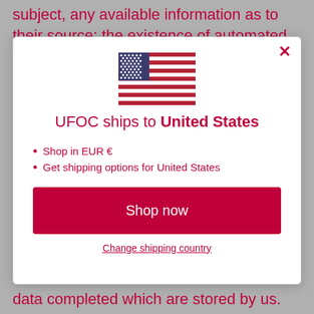subject, any available information as to their source; the existence of automated decision-
[Figure (screenshot): Modal dialog showing US flag, 'UFOC ships to United States', bullet points for EUR currency and shipping options, a 'Shop now' button, and a 'Change shipping country' link.]
Shop in EUR €
Get shipping options for United States
data completed which are stored by us.